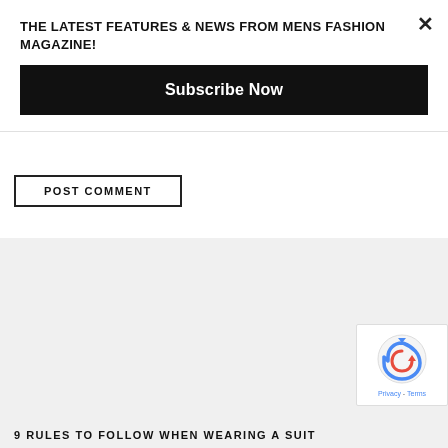THE LATEST FEATURES & NEWS FROM MENS FASHION MAGAZINE!
Subscribe Now
POST COMMENT
[Figure (screenshot): reCAPTCHA Privacy - Terms badge in bottom right corner]
9 RULES TO FOLLOW WHEN WEARING A SUIT